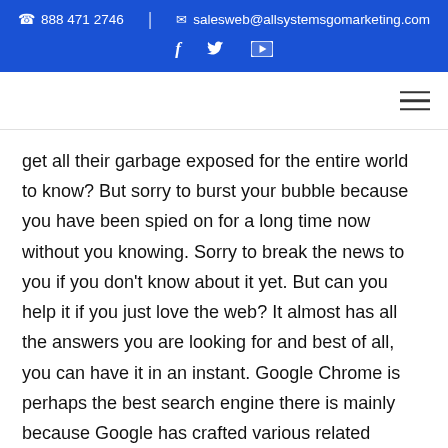☎ 888 471 2746 | ✉ salesweb@allsystemsgomarketing.com  f  𝕩  ▶
get all their garbage exposed for the entire world to know? But sorry to burst your bubble because you have been spied on for a long time now without you knowing. Sorry to break the news to you if you don't know about it yet. But can you help it if you just love the web? It almost has all the answers you are looking for and best of all, you can have it in an instant. Google Chrome is perhaps the best search engine there is mainly because Google has crafted various related services that make life a breeze and it's so easy to use too. It contains millions of articles